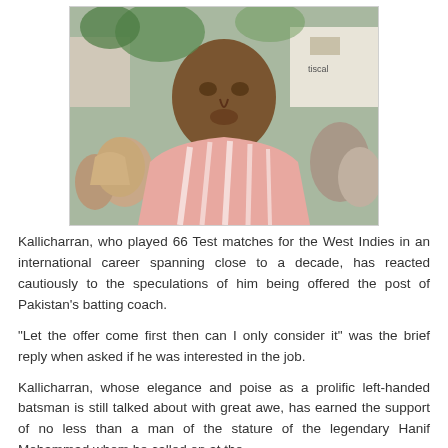[Figure (photo): Photo of Kallicharran, a man wearing a striped pink and white shirt, standing in a crowd outdoors near cricket ground buildings.]
Kallicharran, who played 66 Test matches for the West Indies in an international career spanning close to a decade, has reacted cautiously to the speculations of him being offered the post of Pakistan's batting coach.
“Let the offer come first then can I only consider it” was the brief reply when asked if he was interested in the job.
Kallicharran, whose elegance and poise as a prolific left-handed batsman is still talked about with great awe, has earned the support of no less than a man of the stature of the legendary Hanif Mohammad whom he called on at the